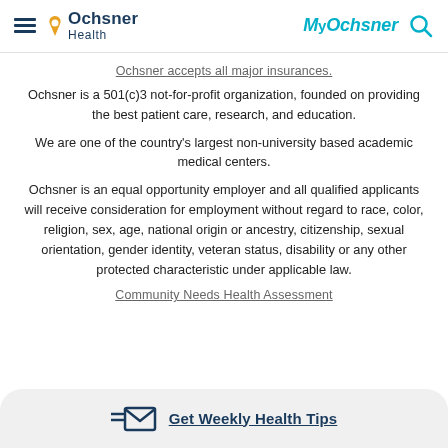Ochsner Health | MyOchsner
Ochsner accepts all major insurances.
Ochsner is a 501(c)3 not-for-profit organization, founded on providing the best patient care, research, and education.
We are one of the country's largest non-university based academic medical centers.
Ochsner is an equal opportunity employer and all qualified applicants will receive consideration for employment without regard to race, color, religion, sex, age, national origin or ancestry, citizenship, sexual orientation, gender identity, veteran status, disability or any other protected characteristic under applicable law.
Community Needs Health Assessment
Get Weekly Health Tips